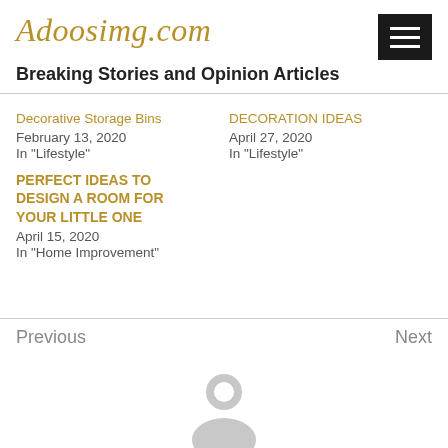Adoosimg.com
Breaking Stories and Opinion Articles
Decorative Storage Bins
February 13, 2020
In "Lifestyle"
DECORATION IDEAS
April 27, 2020
In "Lifestyle"
PERFECT IDEAS TO DESIGN A ROOM FOR YOUR LITTLE ONE
April 15, 2020
In "Home Improvement"
Previous
Next
[Figure (illustration): Grey placeholder user avatar icon]